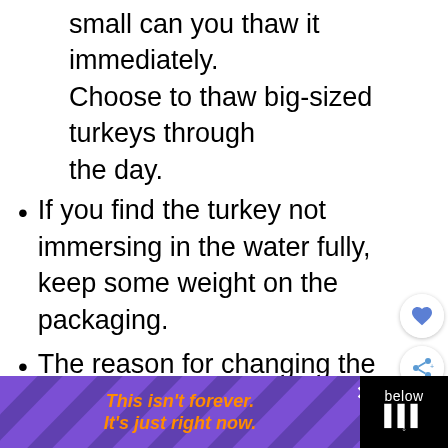small can you thaw it immediately. Choose to thaw big-sized turkeys through the day.
If you find the turkey not immersing in the water fully, keep some weight on the packaging.
The reason for changing the water is to prevent the formation of bacteria. Once the water reaches room temperature, the growth of bacteria begins. Hence, change it with cold water only.